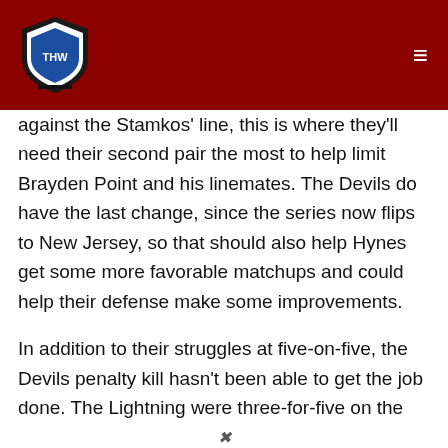THW (The Hockey Writers) - navigation header with logo and hamburger menu
against the Stamkos' line, this is where they'll need their second pair the most to help limit Brayden Point and his linemates. The Devils do have the last change, since the series now flips to New Jersey, so that should also help Hynes get some more favorable matchups and could help their defense make some improvements.
In addition to their struggles at five-on-five, the Devils penalty kill hasn't been able to get the job done. The Lightning were three-for-five on the power play in the first two games and had an easy time finding the back of the net. Against a power play as lethal as Tampa Bay's, the Devils will need to stay out of the box as often as they can. Undisciplined penalties have